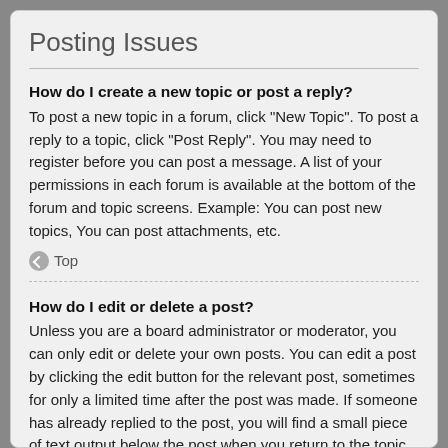Posting Issues
How do I create a new topic or post a reply?
To post a new topic in a forum, click "New Topic". To post a reply to a topic, click "Post Reply". You may need to register before you can post a message. A list of your permissions in each forum is available at the bottom of the forum and topic screens. Example: You can post new topics, You can post attachments, etc.
↑ Top
How do I edit or delete a post?
Unless you are a board administrator or moderator, you can only edit or delete your own posts. You can edit a post by clicking the edit button for the relevant post, sometimes for only a limited time after the post was made. If someone has already replied to the post, you will find a small piece of text output below the post when you return to the topic which lists the number of times you edited it along with the date and time. This will only appear if someone has made a reply; it will not appear if a moderator or administrator edited the post, though they may leave a note as to why they've edited the post at their own discretion. Please note that people can not delete their posts once someone has